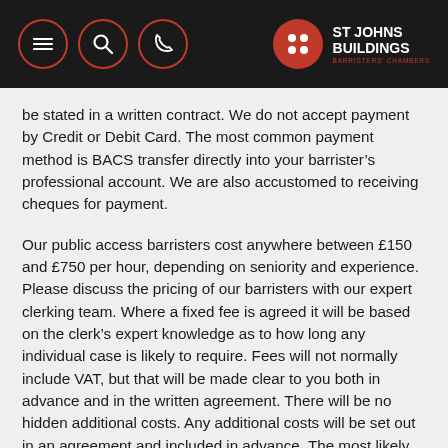ST JOHNS BUILDINGS — navigation header
be stated in a written contract. We do not accept payment by Credit or Debit Card. The most common payment method is BACS transfer directly into your barrister’s professional account. We are also accustomed to receiving cheques for payment.
Our public access barristers cost anywhere between £150 and £750 per hour, depending on seniority and experience. Please discuss the pricing of our barristers with our expert clerking team. Where a fixed fee is agreed it will be based on the clerk’s expert knowledge as to how long any individual case is likely to require. Fees will not normally include VAT, but that will be made clear to you both in advance and in the written agreement. There will be no hidden additional costs. Any additional costs will be set out in an agreement and included in advance. The most likely additional cost is reasonable travel expenses where a hearing or meeting is in a